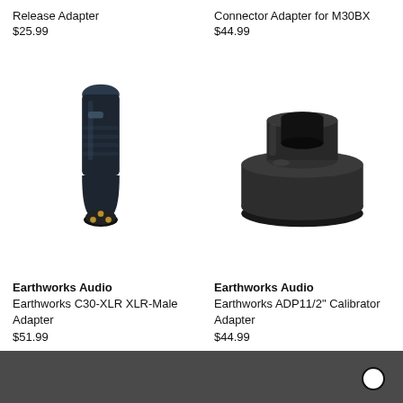Release Adapter
$25.99
Connector Adapter for M30BX
$44.99
[Figure (photo): Earthworks C30-XLR XLR-Male Adapter connector, black with gold pins]
[Figure (photo): Earthworks ADP1 1/2 inch Calibrator Adapter, black cylindrical ring adapter]
Earthworks Audio
Earthworks C30-XLR XLR-Male Adapter
$51.99
Earthworks Audio
Earthworks ADP11/2" Calibrator Adapter
$44.99